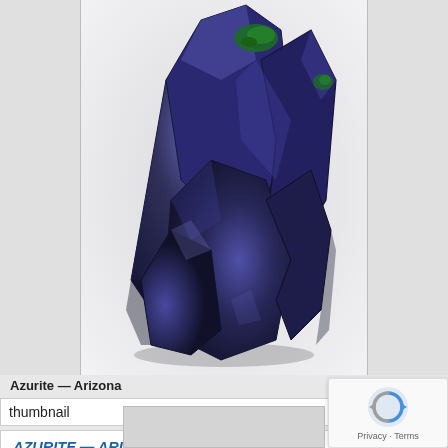[Figure (photo): Large crystalline azurite mineral specimen with deep blue-purple faceted crystals and small patches of green malachite, photographed against a light gray background.]
Azurite — Arizona
thumbnail    200.00
AZURITE — ARIZONA
Origin: New Cornelia mine, Ajo, Pima Co., Arizona, USA
Number: (4162799)
Size: 2.6 x 2.4 x 1.0 cm (thumbnail)
200.00
[Figure (photo): reCAPTCHA widget with rotating arrows icon and Privacy - Terms text]
[Figure (photo): Bottom thumbnail image placeholder (cropped, gray rectangle)]